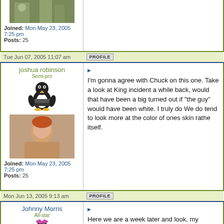[Figure (screenshot): Forum post thread showing multiple user posts with avatars, usernames, join dates, post counts, and message content]
Joined: Mon May 23, 2005 7:25 pm
Posts: 25
Tue Jun 07, 2005 11:07 am
PROFILE
joshua robinson
Semi-pro
I'm gonna agree with Chuck on this one. Take a look at King incident a while back, would that have been a big turned out if "the guy" would have been white. I truly do We do tend to look more at the color of ones skin rathe itself.
Joined: Mon May 23, 2005 7:25 pm
Posts: 25
Mon Jun 13, 2005 9:13 am
PROFILE
Johnny Morris
All-star
Here we are a week later and look, my prophecy came found not guilty.
Johnny Morris